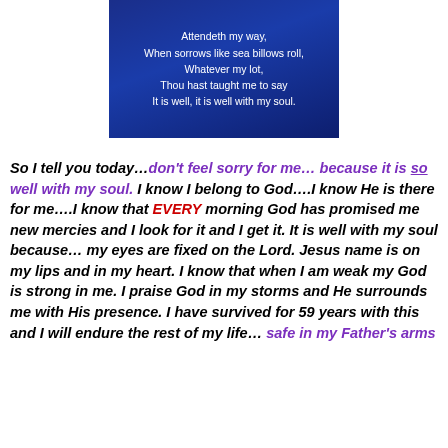[Figure (other): Blue gradient box with white hymn lyrics: Attendeth my way, / When sorrows like sea billows roll, / Whatever my lot, / Thou hast taught me to say / It is well, it is well with my soul.]
So I tell you today…don't feel sorry for me… because it is so well with my soul. I know I belong to God….I know He is there for me….I know that EVERY morning God has promised me new mercies and I look for it and I get it. It is well with my soul because… my eyes are fixed on the Lord. Jesus name is on my lips and in my heart. I know that when I am weak my God is strong in me. I praise God in my storms and He surrounds me with His presence. I have survived for 59 years with this and I will endure the rest of my life… safe in my Father's arms